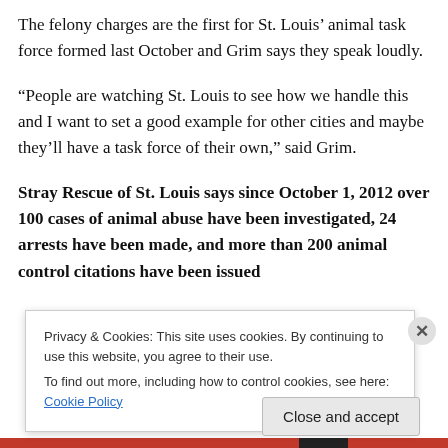The felony charges are the first for St. Louis' animal task force formed last October and Grim says they speak loudly.
“People are watching St. Louis to see how we handle this and I want to set a good example for other cities and maybe they’ll have a task force of their own,” said Grim.
Stray Rescue of St. Louis says since October 1, 2012 over 100 cases of animal abuse have been investigated, 24 arrests have been made, and more than 200 animal control citations have been issued
Privacy & Cookies: This site uses cookies. By continuing to use this website, you agree to their use.
To find out more, including how to control cookies, see here: Cookie Policy
Close and accept